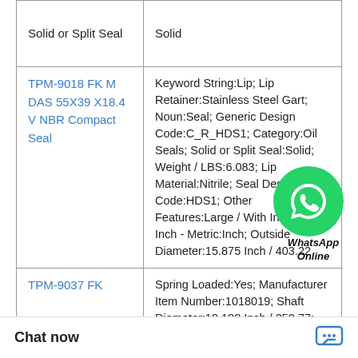| Product | Details |
| --- | --- |
| Solid or Split Seal | Solid |
| TPM-9018 FK M DAS 55X39 X18.4 V NBR Compact Seal | Keyword String:Lip; Lip Retainer:Stainless Steel Gart; Noun:Seal; Generic Design Code:C_R_HDS1; Category:Oil Seals; Solid or Split Seal:Solid; Weight / LBS:6.083; Lip Material:Nitrile; Seal Design Code:HDS1; Other Features:Large / With Inner C; Inch - Metric:Inch; Outside Diameter:15.875 Inch / 403.22 |
| TPM-9037 FK... | Spring Loaded:Yes; Manufacturer Item Number:1018019; Shaft Diameter:10.188 Inch / 258.77; Long Description:10-3/16 Other Features:Large / With Joint; Noun:Seal; So |
[Figure (other): WhatsApp Online chat bubble overlay]
WhatsApp
Online
Chat now